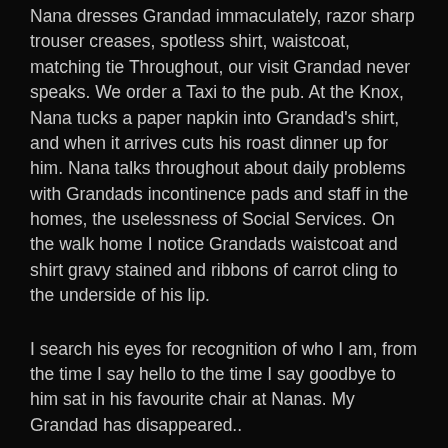Nana dresses Grandad immaculately, razor sharp trouser creases, spotless shirt, waistcoat, matching tie Throughout, our visit Grandad never speaks. We order a Taxi to the pub. At the Knox, Nana tucks a paper napkin into Grandad's shirt, and when it arrives cuts his roast dinner up for him. Nana talks throughout about daily problems with Grandads incontinence pads and staff in the homes, the uselessness of Social Services. On the walk home I notice Grandads waistcoat and shirt gravy stained and ribbons of carrot cling to the underside of his lip.
I search his eyes for recognition of who I am, from the time I say hello to the time I say goodbye to him sat in his favourite chair at Nanas. My Grandad has disappeared..